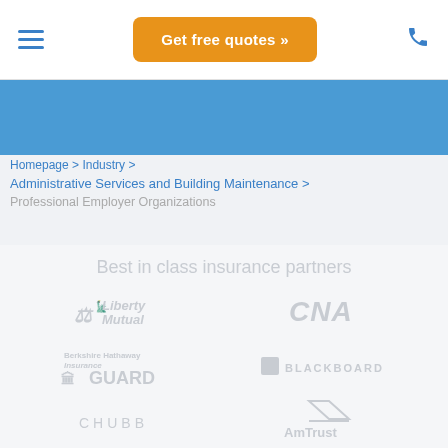Get free quotes »
Homepage > Industry > Administrative Services and Building Maintenance > Professional Employer Organizations
Best in class insurance partners
[Figure (logo): Liberty Mutual insurance company logo (greyed out)]
[Figure (logo): CNA insurance company logo (greyed out)]
[Figure (logo): Berkshire Hathaway Guard insurance logo (greyed out)]
[Figure (logo): Blackboard insurance logo (greyed out)]
[Figure (logo): Chubb insurance logo (greyed out)]
[Figure (logo): AmTrust insurance logo (greyed out)]
[Figure (logo): Hiscox insurance logo (greyed out)]
[Figure (logo): Progressive insurance logo (greyed out)]